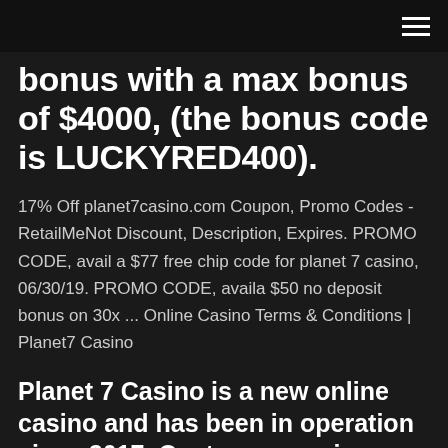bonus with a max bonus of $4000, (the bonus code is LUCKYRED400).
17% Off planet7casino.com Coupon, Promo Codes - RetailMeNot Discount, Description, Expires. PROMO CODE, avail a $77 free chip code for planet 7 casino, 06/30/19. PROMO CODE, availa $50 no deposit bonus on 30x ... Online Casino Terms & Conditions | Planet7 Casino
Planet 7 Casino is a new online casino and has been in operation since 2017. Customer services can be contacted in a manner of methods namely email, live chat and phone. Minimum Deposits Vary